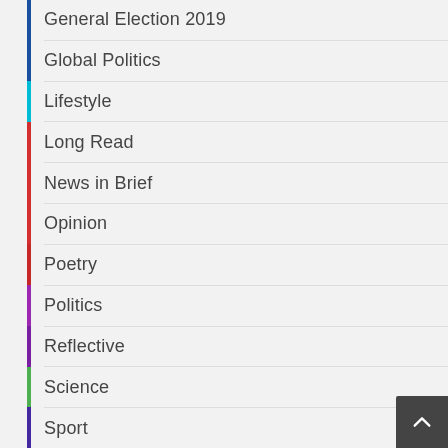General Election 2019
Global Politics
Lifestyle
Long Read
News in Brief
Opinion
Poetry
Politics
Reflective
Science
Sport